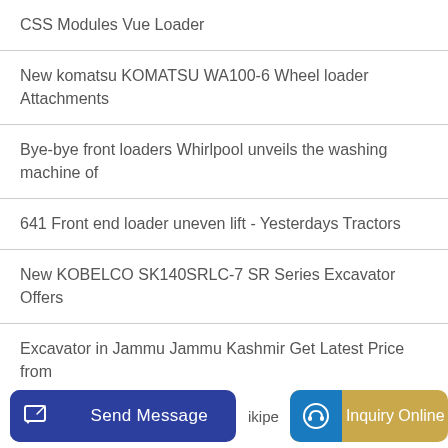CSS Modules Vue Loader
New komatsu KOMATSU WA100-6 Wheel loader Attachments
Bye-bye front loaders Whirlpool unveils the washing machine of
641 Front end loader uneven lift - Yesterdays Tractors
New KOBELCO SK140SRLC-7 SR Series Excavator Offers
Excavator in Jammu Jammu Kashmir Get Latest Price from
Send Message  ikipe  Inquiry Online